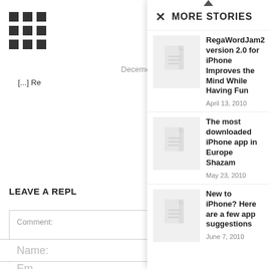[Figure (screenshot): Background page showing a grid icon, date text 'Decemb...', excerpt '[...] Re', 'LEAVE A REPL' heading, comment textarea, and Name/Email form fields]
MORE STORIES
RegaWordJam2 version 2.0 for iPhone Improves the Mind While Having Fun
April 13, 2010
The most downloaded iPhone app in Europe Shazam
May 23, 2010
New to iPhone? Here are a few app suggestions
June 7, 2010